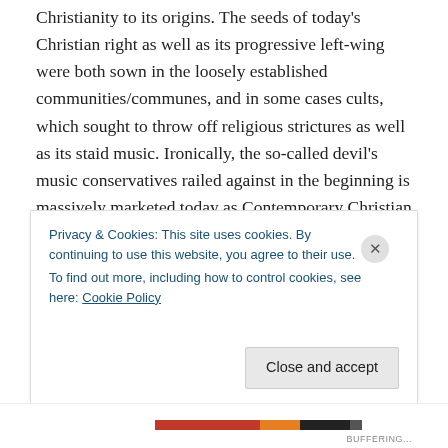Christianity to its origins. The seeds of today's Christian right as well as its progressive left-wing were both sown in the loosely established communities/communes, and in some cases cults, which sought to throw off religious strictures as well as its staid music. Ironically, the so-called devil's music conservatives railed against in the beginning is massively marketed today as Contemporary Christian Music (CCM), a major tool to keep young people interested in faith, but that isn't the subject of this post. Rather, for Good Friday and Easter Weekend, I give
Privacy & Cookies: This site uses cookies. By continuing to use this website, you agree to their use.
To find out more, including how to control cookies, see here: Cookie Policy
Close and accept